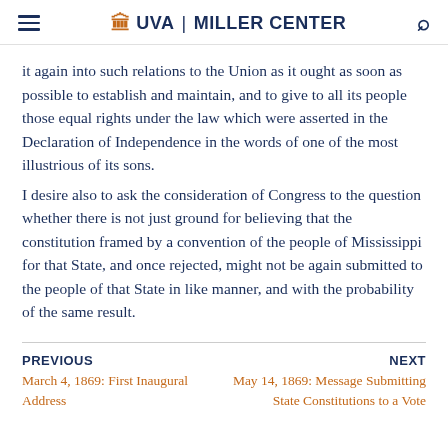UVA | MILLER CENTER
it again into such relations to the Union as it ought as soon as possible to establish and maintain, and to give to all its people those equal rights under the law which were asserted in the Declaration of Independence in the words of one of the most illustrious of its sons.
I desire also to ask the consideration of Congress to the question whether there is not just ground for believing that the constitution framed by a convention of the people of Mississippi for that State, and once rejected, might not be again submitted to the people of that State in like manner, and with the probability of the same result.
PREVIOUS
March 4, 1869: First Inaugural Address
NEXT
May 14, 1869: Message Submitting State Constitutions to a Vote